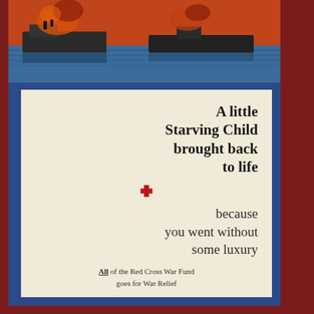[Figure (photo): Black and white/color photograph of a burning ship at sea, wartime naval scene with flames and smoke visible on a vessel in blue water]
[Figure (illustration): WWI/WWII era Red Cross charity poster on cream/beige background with dark blue border frame. Features a large red cross symbol in the center. Text reads: 'A little Starving Child brought back to life because you went without some luxury. All of the Red Cross War Fund goes for War Relief']